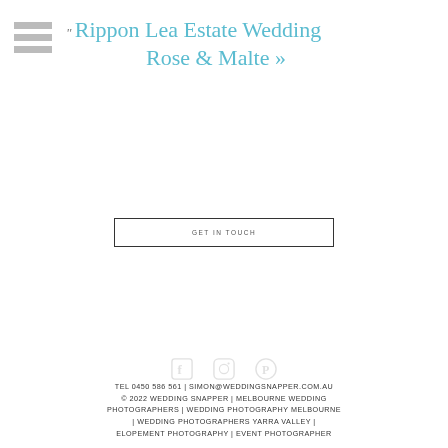Rippon Lea Estate Wedding Rose & Malte »
GET IN TOUCH
TEL 0450 586 561 | SIMON@WEDDINGSNAPPER.COM.AU © 2022 WEDDING SNAPPER | MELBOURNE WEDDING PHOTOGRAPHERS | WEDDING PHOTOGRAPHY MELBOURNE | WEDDING PHOTOGRAPHERS YARRA VALLEY | ELOPEMENT PHOTOGRAPHY | EVENT PHOTOGRAPHER